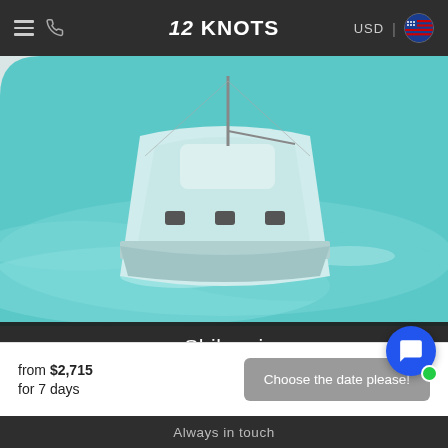12 KNOTS
[Figure (photo): A white sailing yacht (Dufour 390 Grand Large) on turquoise water, shown from a slightly elevated angle, partially cropped at top.]
Shibumi
Dufour 390 Grand Large is comfortable and fantastic sailing yacht available for rent in Italy coastal. Equipped with 3 cabins and 7 berths this yacht can
from $2,715
for 7 days
Choose the date please!
Always in touch